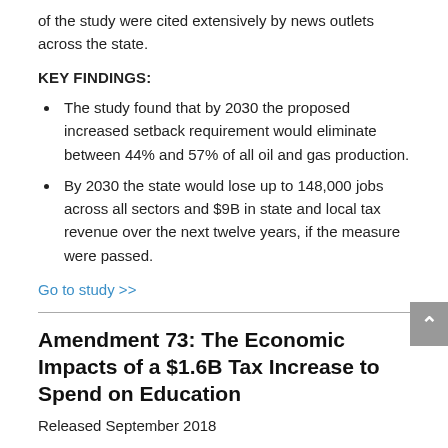of the study were cited extensively by news outlets across the state.
KEY FINDINGS:
The study found that by 2030 the proposed increased setback requirement would eliminate between 44% and 57% of all oil and gas production.
By 2030 the state would lose up to 148,000 jobs across all sectors and $9B in state and local tax revenue over the next twelve years, if the measure were passed.
Go to study >>
Amendment 73: The Economic Impacts of a $1.6B Tax Increase to Spend on Education
Released September 2018